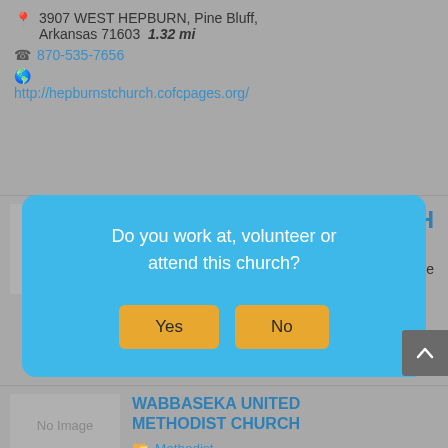📍 3907 WEST HEPBURN, Pine Bluff, Arkansas 71603  1.32 mi
📞 870-535-7656
🌐 http://hepburnstchurch.cofcpages.org/
[Figure (screenshot): Modal dialog overlay with blue background asking 'Do you work at, volunteer or attend this church?' with Yes and No buttons]
WABBASEKA UNITED METHODIST CHURCH
Methodist
2702 W 37th Ave, PINE BLUFF,